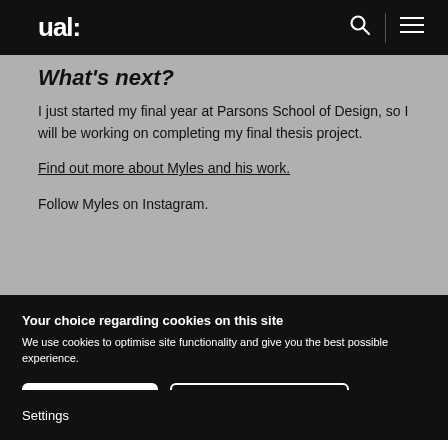ual:
What's next?
I just started my final year at Parsons School of Design, so I will be working on completing my final thesis project.
Find out more about Myles and his work.
Follow Myles on Instagram.
Your choice regarding cookies on this site
We use cookies to optimise site functionality and give you the best possible experience.
I Accept Cookies
I Do Not Accept Cookies
Settings